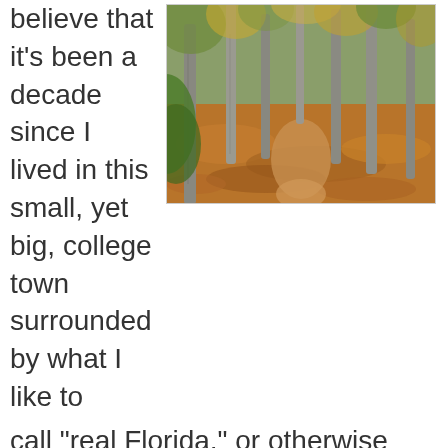believe that it's been a decade since I lived in this small, yet big, college town surrounded by what I like to
[Figure (photo): Autumn forest path with fallen orange and brown leaves covering the ground, surrounded by tall thin trees with sparse yellow-green foliage]
call "real Florida," or otherwise known as the north central part of the state that tends to be more "southern" than the Hispanic dominated south Florida or the Yankee dominated coastlines. It's amazing that my college memories during my years at the University of Florida seem to be primarily limited to parties, football games, friends and a few bars, some of which no longer exists, but the parks,